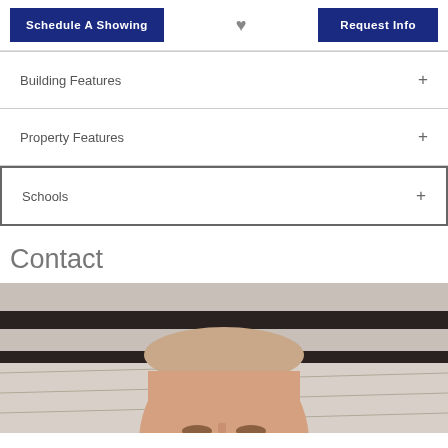Schedule A Showing
♥
Request Info
Building Features
Property Features
Schools
Contact
[Figure (photo): A cropped photo showing the top of a person's head and forehead, with a blurred background featuring dark architectural elements and a marble-like surface.]